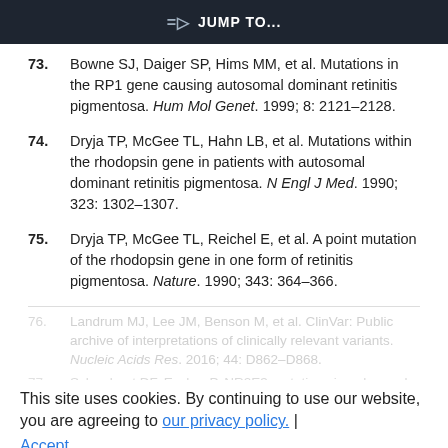JUMP TO...
73. Bowne SJ, Daiger SP, Hims MM, et al. Mutations in the RP1 gene causing autosomal dominant retinitis pigmentosa. Hum Mol Genet. 1999; 8: 2121–2128.
74. Dryja TP, McGee TL, Hahn LB, et al. Mutations within the rhodopsin gene in patients with autosomal dominant retinitis pigmentosa. N Engl J Med. 1990; 323: 1302–1307.
75. Dryja TP, McGee TL, Reichel E, et al. A point mutation of the rhodopsin gene in one form of retinitis pigmentosa. Nature. 1990; 343: 364–366.
76. Landrum MJ, Lee JM, Benson M, et al. ClinVar: Public archive of interpretations of clinically relevant variants. Nucleic Acids Res. 2016; 44: D862–D868.
77. Schorderet DF, Escher P. NR2E3 mutations in enhanced...
This site uses cookies. By continuing to use our website, you are agreeing to our privacy policy. | Accept